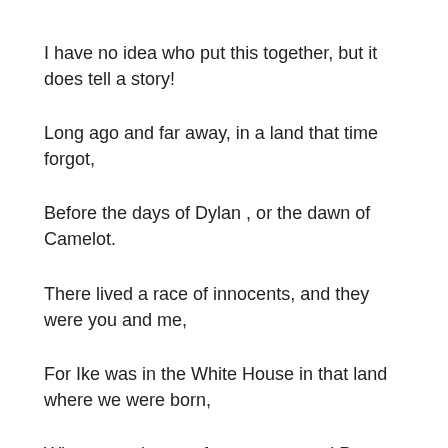I have no idea who put this together, but it does tell a story!
Long ago and far away, in a land that time forgot,
Before the days of Dylan , or the dawn of Camelot.
There lived a race of innocents, and they were you and me,
For Ike was in the White House in that land where we were born,
Where navels were for oranges, and Peyton Place was porn.